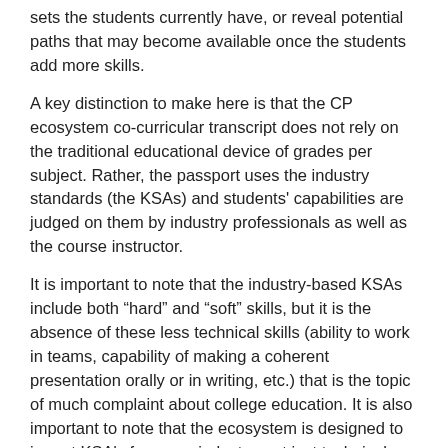sets the students currently have, or reveal potential paths that may become available once the students add more skills.
A key distinction to make here is that the CP ecosystem co-curricular transcript does not rely on the traditional educational device of grades per subject. Rather, the passport uses the industry standards (the KSAs) and students' capabilities are judged on them by industry professionals as well as the course instructor.
It is important to note that the industry-based KSAs include both “hard” and “soft” skills, but it is the absence of these less technical skills (ability to work in teams, capability of making a coherent presentation orally or in writing, etc.) that is the topic of much complaint about college education. It is also important to note that the ecosystem is designed to import KSA’s from any industry, not just technical industries, in such a way, that a CP ecosystem or partnership with industry can be deployed for any academic subject.
The iQ4 Cybersecurity course, The Threat Within, is a standard course and part of the academic course flow in the college’s curriculum. It reflects the facts-and-theories part of the hard skills (e.g. knowledge of relevant computer coding languages or soft-ware packages in cybersecurity) and is